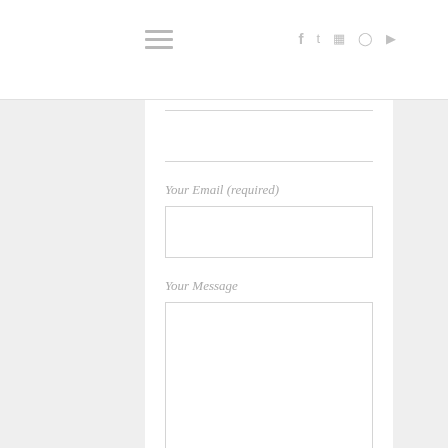Navigation header with hamburger menu and social icons (f, twitter, instagram, pinterest, youtube)
Your Email (required)
Your Message